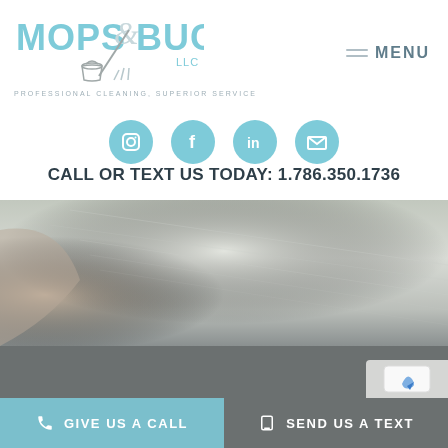[Figure (logo): Mops & Buckets LLC logo with mop and bucket illustration, teal/blue color scheme]
PROFESSIONAL CLEANING, SUPERIOR SERVICE
[Figure (infographic): Navigation menu with hamburger lines icon and MENU text]
[Figure (infographic): Four teal social media icon circles: Instagram, Facebook, LinkedIn, Email]
CALL OR TEXT US TODAY: 1.786.350.1736
[Figure (photo): Close-up blurred photo of carpet or fabric texture, transitioning from warm beige/tan to cool gray]
[Figure (infographic): Dark gray block section, partially visible reCAPTCHA widget in corner]
GIVE US A CALL
SEND US A TEXT